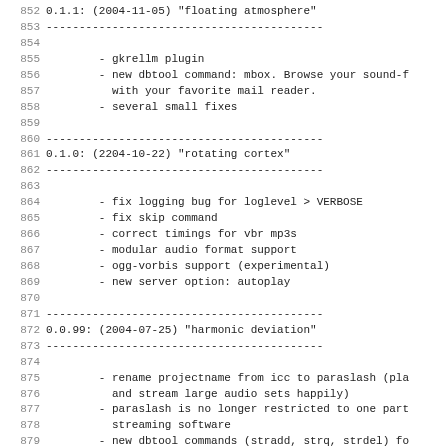852 0.1.1: (2004-11-05) "floating atmosphere"
853 ------------------------------------------
854
855         - gkrellm plugin
856         - new dbtool command: mbox. Browse your sound-f
857           with your favorite mail reader.
858         - several small fixes
859
860 ------------------------------------------
861 0.1.0: (2204-10-22) "rotating cortex"
862 ------------------------------------------
863
864         - fix logging bug for loglevel > VERBOSE
865         - fix skip command
866         - correct timings for vbr mp3s
867         - modular audio format support
868         - ogg-vorbis support (experimental)
869         - new server option: autoplay
870
871 ------------------------------------------
872 0.0.99: (2004-07-25) "harmonic deviation"
873 ------------------------------------------
874
875         - rename projectname from icc to paraslash (pla
876           and stream large audio sets happily)
877         - paraslash is no longer restricted to one part
878           streaming software
879         - new dbtool commands (stradd, strq, strdel) fo
880           managment w/o configuration file. That obsole
881           file/config option for dbtool.
882         - picadd accepts jpeg data from stdin
883         - new server commands: ps (select previous str